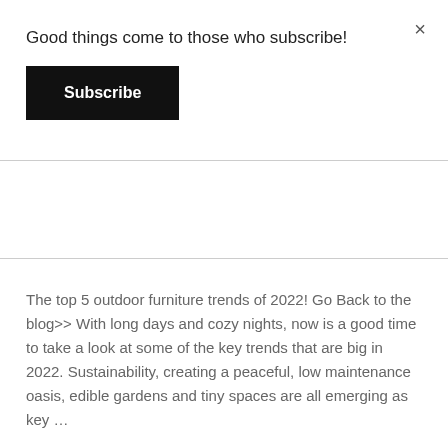×
Good things come to those who subscribe!
Subscribe
The top 5 outdoor furniture trends of 2022! Go Back to the blog>> With long days and cozy nights, now is a good time to take a look at some of the key trends that are big in 2022. Sustainability, creating a peaceful, low maintenance oasis, edible gardens and tiny spaces are all emerging as key …